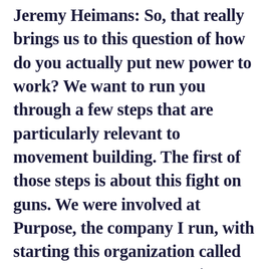Jeremy Heimans: So, that really brings us to this question of how do you actually put new power to work? We want to run you through a few steps that are particularly relevant to movement building. The first of those steps is about this fight on guns. We were involved at Purpose, the company I run, with starting this organization called Every Town. Every Town is an attempt to build a counterweight to the NRA. That requires a blend of both old and new